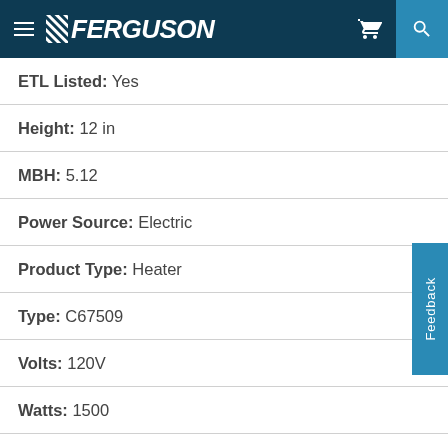FERGUSON
ETL Listed: Yes
Height: 12 in
MBH: 5.12
Power Source: Electric
Product Type: Heater
Type: C67509
Volts: 120V
Watts: 1500
Width: 9 in